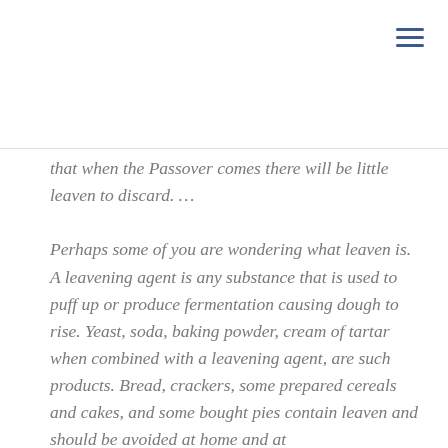that when the Passover comes there will be little leaven to discard. …
Perhaps some of you are wondering what leaven is. A leavening agent is any substance that is used to puff up or produce fermentation causing dough to rise. Yeast, soda, baking powder, cream of tartar when combined with a leavening agent, are such products. Bread, crackers, some prepared cereals and cakes, and some bought pies contain leaven and should be avoided at home and at